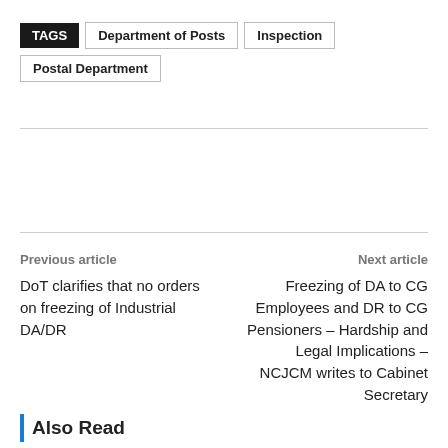TAGS  Department of Posts  Inspection  Postal Department
Previous article
DoT clarifies that no orders on freezing of Industrial DA/DR
Next article
Freezing of DA to CG Employees and DR to CG Pensioners – Hardship and Legal Implications – NCJCM writes to Cabinet Secretary
Also Read